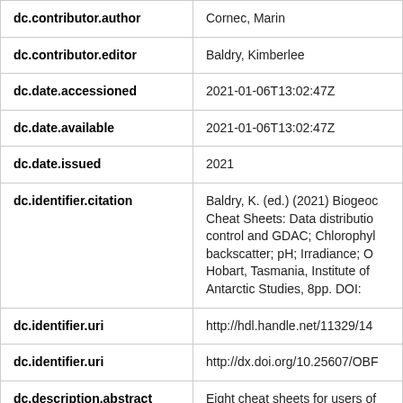| Field | Value |
| --- | --- |
| dc.contributor.author | Cornec, Marin |
| dc.contributor.editor | Baldry, Kimberlee |
| dc.date.accessioned | 2021-01-06T13:02:47Z |
| dc.date.available | 2021-01-06T13:02:47Z |
| dc.date.issued | 2021 |
| dc.identifier.citation | Baldry, K. (ed.) (2021) Biogeoc Cheat Sheets: Data distributio control and GDAC; Chlorophyl backscatter; pH; Irradiance; O Hobart, Tasmania, Institute of Antarctic Studies, 8pp. DOI: |
| dc.identifier.uri | http://hdl.handle.net/11329/14 |
| dc.identifier.uri | http://dx.doi.org/10.25607/OBF |
| dc.description.abstract | Eight cheat sheets for users of Biogeochemical Argo data. Th describe data distribution, qu... |